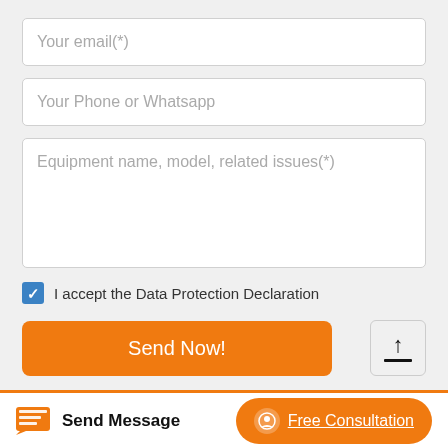[Figure (screenshot): Web contact form with input fields for email, phone/Whatsapp, equipment description, a data protection checkbox, a Send Now button, an upload button, and a bottom navigation bar with Send Message and Free Consultation buttons.]
Your email(*)
Your Phone or Whatsapp
Equipment name, model, related issues(*)
I accept the Data Protection Declaration
Send Now!
Send Message
Free Consultation